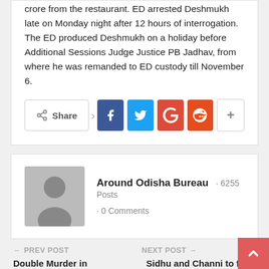crore from the restaurant. ED arrested Deshmukh late on Monday night after 12 hours of interrogation. The ED produced Deshmukh on a holiday before Additional Sessions Judge Justice PB Jadhav, from where he was remanded to ED custody till November 6.
[Figure (other): Social media share bar with Share button, Facebook, Twitter, Google+, Reddit, and More (+) buttons]
[Figure (other): Author profile block showing a grey avatar placeholder, author name 'Around Odisha Bureau', 6255 Posts, 0 Comments]
← PREV POST
Double Murder in Bhubaneswar: Husband
NEXT POST →
Sidhu and Channi to fight Punjab elections together